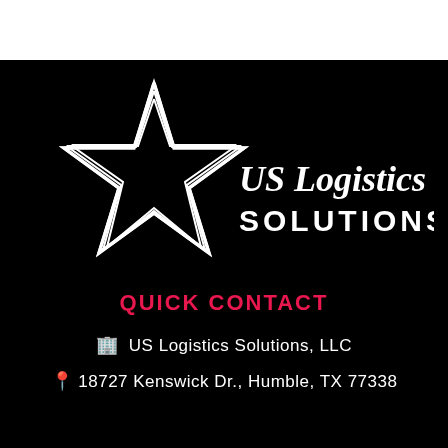[Figure (logo): US Logistics Solutions star logo with company name in white on black background]
QUICK CONTACT
🏢 US Logistics Solutions, LLC
📍 18727 Kenswick Dr., Humble, TX 77338